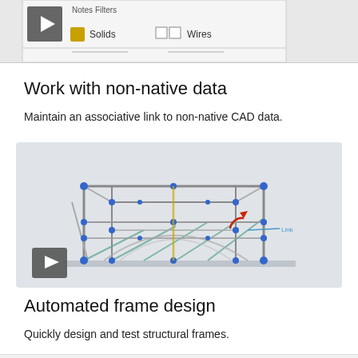[Figure (screenshot): Top portion of a CAD software interface showing a play button, Solids option with icon, checkboxes, and Wires label]
Work with non-native data
Maintain an associative link to non-native CAD data.
[Figure (screenshot): Video thumbnail showing a 3D structural frame model with blue node points, green and grey beams, and a red rotation arrow. A play button is shown in the lower left corner.]
Automated frame design
Quickly design and test structural frames.